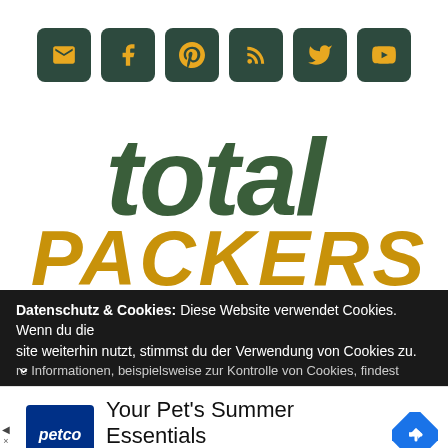[Figure (other): Row of six dark green rounded social media icon buttons: email, Facebook, Pinterest, RSS, Twitter, YouTube — icons in gold/yellow]
[Figure (logo): Total Packers logo: 'total' in large dark green bold italic text above 'PACKERS' in large gold bold italic uppercase text]
Datenschutz & Cookies: Diese Website verwendet Cookies. Wenn du die Site weiterhin nutzt, stimmst du der Verwendung von Cookies zu. Weitere Informationen, beispielsweise zur Kontrolle von Cookies, findest
[Figure (infographic): Advertisement bar: Petco logo (blue box with white italic 'petco'), text 'Your Pet's Summer Essentials' and 'Petco' in blue, navigation arrow icon on right]